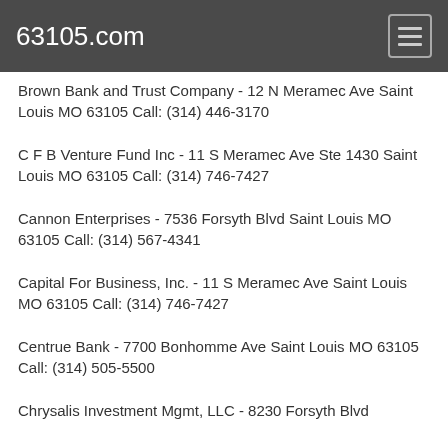63105.com
Brown Bank and Trust Company - 12 N Meramec Ave Saint Louis MO 63105 Call: (314) 446-3170
C F B Venture Fund Inc - 11 S Meramec Ave Ste 1430 Saint Louis MO 63105 Call: (314) 746-7427
Cannon Enterprises - 7536 Forsyth Blvd Saint Louis MO 63105 Call: (314) 567-4341
Capital For Business, Inc. - 11 S Meramec Ave Saint Louis MO 63105 Call: (314) 746-7427
Centrue Bank - 7700 Bonhomme Ave Saint Louis MO 63105 Call: (314) 505-5500
Chrysalis Investment Mgmt, LLC - 8230 Forsyth Blvd